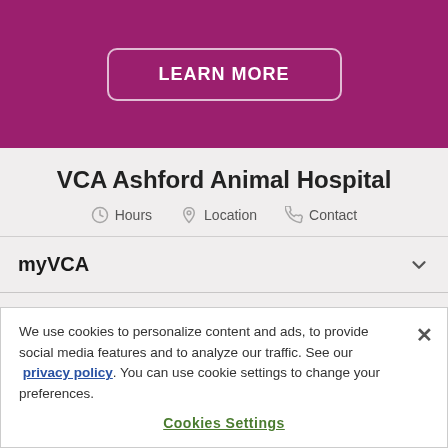[Figure (other): Purple/magenta hero banner with a 'LEARN MORE' button outlined in white with rounded corners]
VCA Ashford Animal Hospital
Hours   Location   Contact
myVCA
Account
We use cookies to personalize content and ads, to provide social media features and to analyze our traffic. See our privacy policy. You can use cookie settings to change your preferences.
Cookies Settings